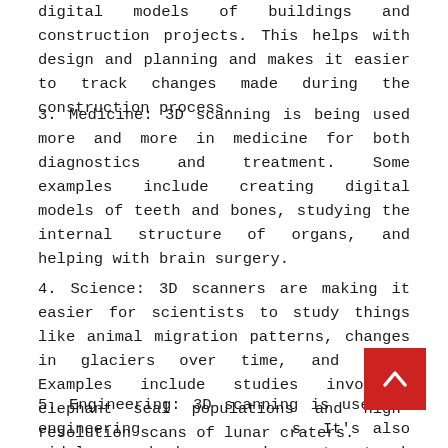digital models of buildings and construction projects. This helps with design and planning and makes it easier to track changes made during the construction process.
3. Medicine: 3D scanning is being used more and more in medicine for both diagnostics and treatment. Some examples include creating digital models of teeth and bones, studying the internal structure of organs, and helping with brain surgery.
4. Science: 3D scanners are making it easier for scientists to study things like animal migration patterns, changes in glaciers over time, and more. Examples include studies involving elephant seal populations and high-resolution scans of lunar craters.
5. Engineering: 3D scanning is used in engineering s. It's also widely used by carmakers to track chang g the design process. Some other examples include designing parts for airplanes and creating test models for